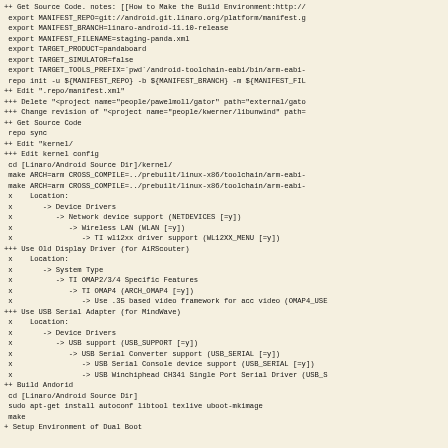++ Get Source Code. notes: [[How to Make the Build Environment:http://
 export MANIFEST_REPO=git://android.git.linaro.org/platform/manifest.g
 export MANIFEST_BRANCH=linaro-android-11.10-release
 export MANIFEST_FILENAME=staging-panda.xml
 export TARGET_PRODUCT=pandaboard
 export TARGET_SIMULATOR=false
 export TARGET_TOOLS_PREFIX=`pwd`/android-toolchain-eabi/bin/arm-eabi-
 repo init -u ${MANIFEST_REPO} -b ${MANIFEST_BRANCH} -m ${MANIFEST_FIL
++ Edit ".repo/manifest.xml"
+++ Delete "<project name="people/pawelmoll/gator" path="external/gato
+++ Change revision of "<project name="people/kwerner/libunwind" path=
++ Get Source Code
 repo sync
++ Edit "kernel/
+++ Edit kernel config
 cd [Linaro/Android Source Dir]/kernel/
 make ARCH=arm CROSS_COMPILE=../prebuilt/linux-x86/toolchain/arm-eabi-
 make ARCH=arm CROSS_COMPILE=../prebuilt/linux-x86/toolchain/arm-eabi-
 x    Location:
 x       -> Device Drivers
 x          -> Network device support (NETDEVICES [=y])
 x             -> Wireless LAN (WLAN [=y])
 x                -> TI wl12xx driver support (WL12XX_MENU [=y])
+++ Use Old Display Driver (for AiRScouter)
 x    Location:
 x       -> System Type
 x          -> TI OMAP2/3/4 Specific Features
 x             -> TI OMAP4 (ARCH_OMAP4 [=y])
 x                -> Use .35 based video framework for acc video (OMAP4_USE
+++ Use USB Serial Adapter (for MindWave)
 x    Location:
 x       -> Device Drivers
 x          -> USB support (USB_SUPPORT [=y])
 x             -> USB Serial Converter support (USB_SERIAL [=y])
 x                -> USB Serial Console device support (USB_SERIAL [=y])
 x                -> USB Winchiphead CH341 Single Port Serial Driver (USB_S
++ Build Andorid
 cd [Linaro/Android Source Dir]
 sudo apt-get install autoconf libtool texlive uboot-mkimage
 make
+ Setup Environment of Dual Boot